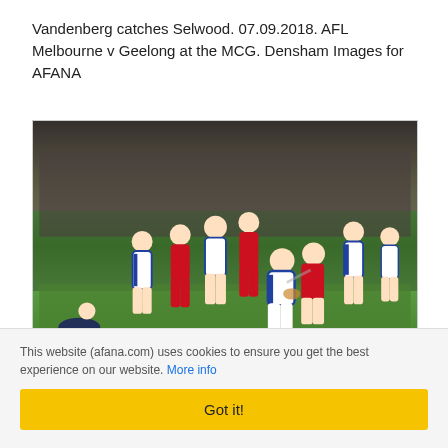Vandenberg catches Selwood. 07.09.2018. AFL Melbourne v Geelong at the MCG. Densham Images for AFANA
[Figure (photo): AFL football action photo showing Joel Selwood being tackled by Aaron vandenBerg during Melbourne v Geelong match at the MCG on 07.09.2018. Multiple players in red/white Melbourne and blue/white Geelong kits engaged in play on a green field with a crowd in the background. AFANA watermark in bottom right.]
Joel Selwood Aaron vandenBerg
This website (afana.com) uses cookies to ensure you get the best experience on our website. More info
Got it!